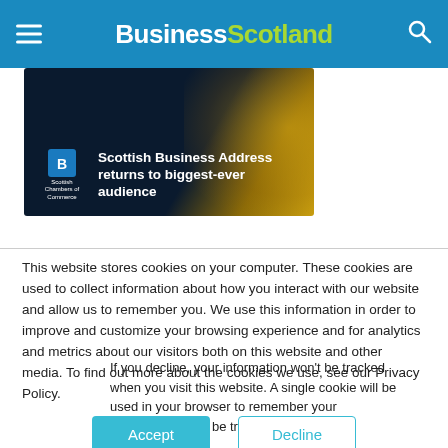Business Scotland
[Figure (photo): Scottish Business Address returns to biggest-ever audience — promotional card with Scottish Chambers of Commerce logo on dark/gold background]
This website stores cookies on your computer. These cookies are used to collect information about how you interact with our website and allow us to remember you. We use this information in order to improve and customize your browsing experience and for analytics and metrics about our visitors both on this website and other media. To find out more about the cookies we use, see our Privacy Policy.
If you decline, your information won't be tracked when you visit this website. A single cookie will be used in your browser to remember your preference not to be tracked.